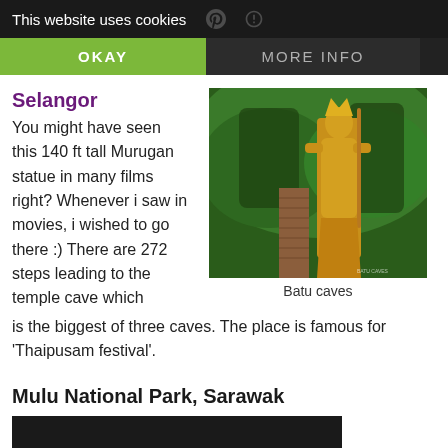This website uses cookies | OKAY | MORE INFO
Selangor
You might have seen this 140 ft tall Murugan statue in many films right? Whenever i saw in movies, i wished to go there :) There are 272 steps leading to the temple cave which is the biggest of three caves. The place is famous for 'Thaipusam festival'.
[Figure (photo): A golden Murugan statue standing tall in front of green rocky hillside, with a staircase leading up. Photo of Batu Caves, Selangor, Malaysia.]
Batu caves
Mulu National Park, Sarawak
[Figure (photo): Partially visible dark/black image at the bottom of the page, appears to be the beginning of a photo of Mulu National Park.]